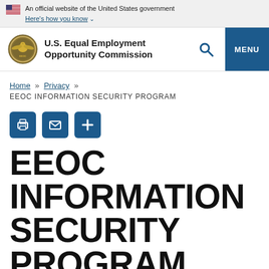An official website of the United States government Here's how you know
[Figure (logo): U.S. Equal Employment Opportunity Commission seal and agency name with search and menu navigation]
Home » Privacy »
EEOC INFORMATION SECURITY PROGRAM
[Figure (infographic): Three blue icon buttons: print, email, and expand/plus]
EEOC INFORMATION SECURITY PROGRAM